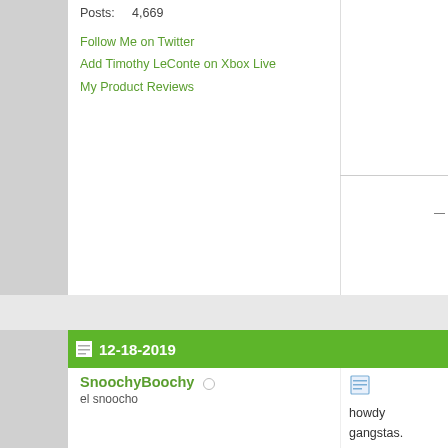Posts: 4,669
Follow Me on Twitter
Add Timothy LeConte on Xbox Live
My Product Reviews
12-18-2019
SnoochyBoochy
el snoocho
[Figure (photo): Photo of gaming dice including a large blue and gold d20 die surrounded by red and blue dice]
Join Date: Sep 2003
Location: Nova Scotia, Canada
Posts: 1,968
Follow Me on Twitter
howdy gangstas.

i am old.